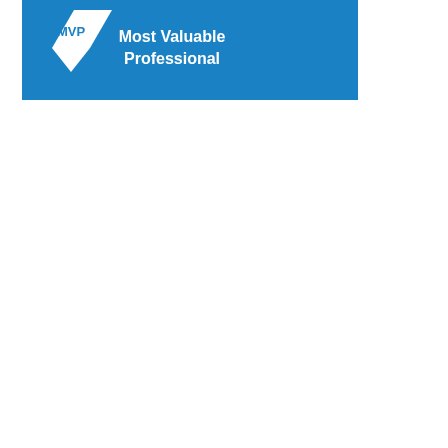[Figure (logo): MVP (Most Valuable Professional) badge/logo on a blue rectangular background. Features a white diamond shape with 'MVP' text above it, and 'Most Valuable Professional' text to the right in white on blue background.]